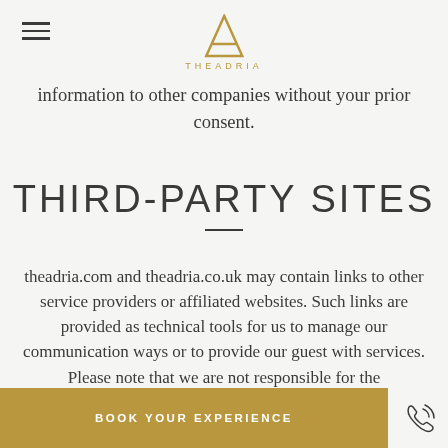THE ADRIA (logo)
information to other companies without your prior consent.
THIRD-PARTY SITES
theadria.com and theadria.co.uk may contain links to other service providers or affiliated websites. Such links are provided as technical tools for us to manage our communication ways or to provide our guest with services. Please note that we are not responsible for the
BOOK YOUR EXPERIENCE